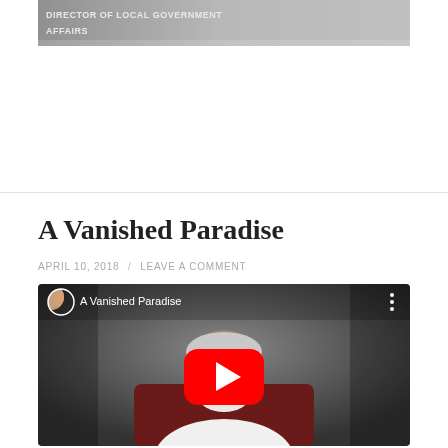[Figure (screenshot): Top portion of a webpage showing a partial image with text 'DIRECTOR OF LOCAL GOVERNMENT AFFAIRS' overlaid]
A Vanished Paradise
APRIL 10, 2018 / LEAVE A COMMENT
[Figure (screenshot): YouTube video thumbnail showing an older man with white beard and glasses seated in a dark red chair, with YouTube play button overlay and video title 'A Vanished Paradise']